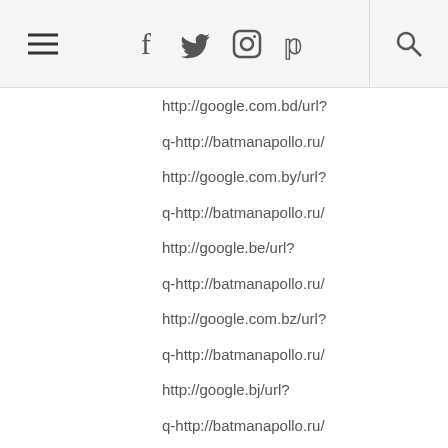Navigation header with hamburger menu, social icons (Facebook, Twitter, Instagram, Pinterest), and search icon
http://google.com.bd/url?
q-http://batmanapollo.ru/
http://google.com.by/url?
q-http://batmanapollo.ru/
http://google.be/url?
q-http://batmanapollo.ru/
http://google.com.bz/url?
q-http://batmanapollo.ru/
http://google.bj/url?
q-http://batmanapollo.ru/
http://google.bt/url?
q-http://batmanapollo.ru/
http://google.com.bo/url?
q-http://batmanapollo.ru/